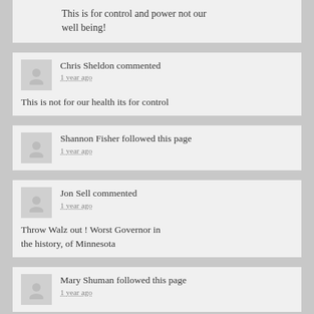This is for control and power not our well being!
Chris Sheldon commented
1 year ago
This is not for our health its for control
Shannon Fisher followed this page
1 year ago
Jon Sell commented
1 year ago
Throw Walz out ! Worst Governor in the history, of Minnesota
Mary Shuman followed this page
1 year ago